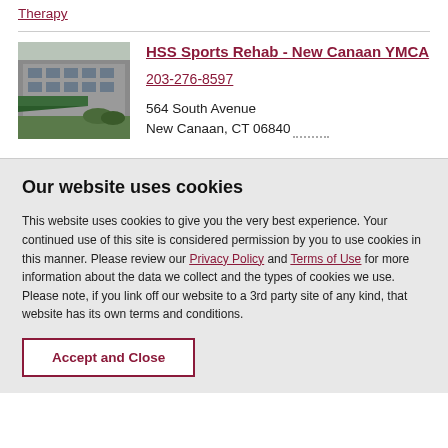Therapy
[Figure (photo): Exterior photo of HSS Sports Rehab - New Canaan YMCA building with green awning]
HSS Sports Rehab - New Canaan YMCA
203-276-8597
564 South Avenue
New Canaan, CT 06840
Our website uses cookies
This website uses cookies to give you the very best experience. Your continued use of this site is considered permission by you to use cookies in this manner. Please review our Privacy Policy and Terms of Use for more information about the data we collect and the types of cookies we use. Please note, if you link off our website to a 3rd party site of any kind, that website has its own terms and conditions.
Accept and Close